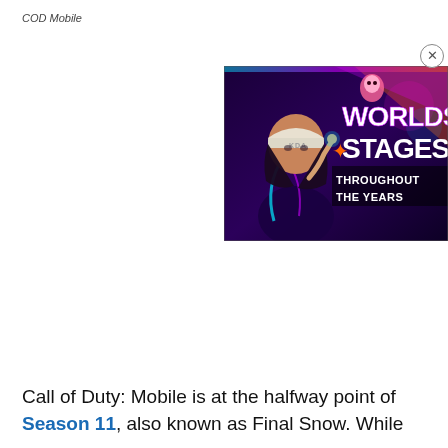COD Mobile
[Figure (screenshot): Advertisement overlay showing a stylized animated character wearing a white cap with 'KDA' text, against a neon-lit background. Large bold white text reads 'WORLDS STAGES THROUGHOUT THE YEARS'. A close (X) button appears in the top-right corner of the overlay.]
Call of Duty: Mobile is at the halfway point of Season 11, also known as Final Snow. While